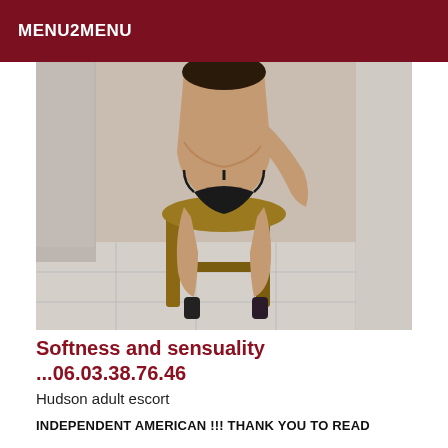MENU2MENU
[Figure (photo): A person viewed from behind, sitting on a wooden stool, wearing black lingerie, in an indoor tiled room.]
Softness and sensuality ...06.03.38.76.46
Hudson adult escort
INDEPENDENT AMERICAN !!! THANK YOU TO READ